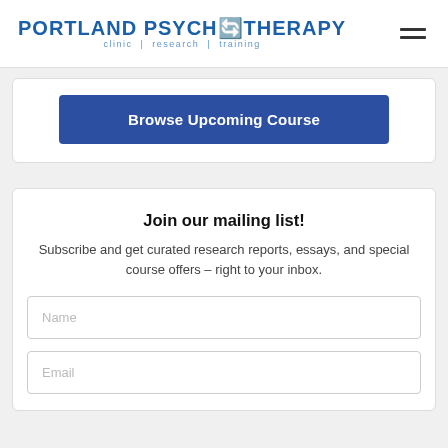PORTLAND PSYCHOTHERAPY clinic | research | training
Browse Upcoming Course
Join our mailing list!
Subscribe and get curated research reports, essays, and special course offers – right to your inbox.
Name
Email